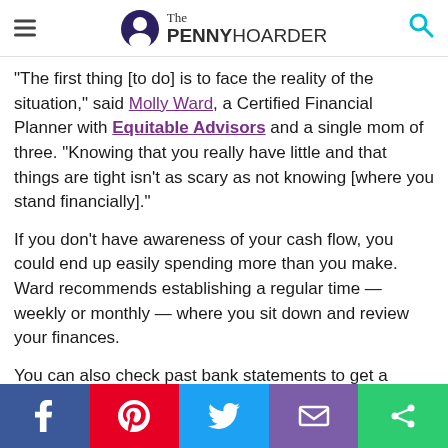The Penny Hoarder
“The first thing [to do] is to face the reality of the situation,” said Molly Ward, a Certified Financial Planner with Equitable Advisors and a single mom of three. “Knowing that you really have little and that things are tight isn’t as scary as not knowing [where you stand financially].”
If you don’t have awareness of your cash flow, you could end up easily spending more than you make. Ward recommends establishing a regular time — weekly or monthly — where you sit down and review your finances.
You can also check past bank statements to get a better idea of money habits you might have.
Don’t just focus on your spending. Make sure you’re clear on your sources of income, including any child support or